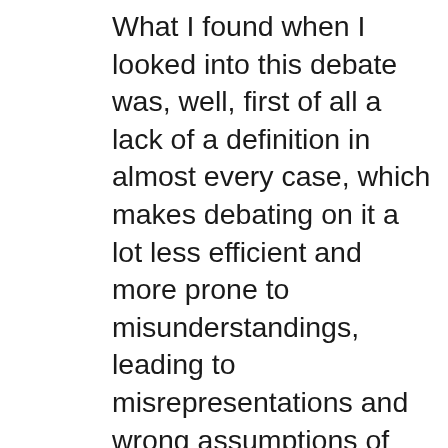What I found when I looked into this debate was, well, first of all a lack of a definition in almost every case, which makes debating on it a lot less efficient and more prone to misunderstandings, leading to misrepresentations and wrong assumptions of other's opinions and thus a lack of a result of the whole debate. But trying to look past that, I got the feeling that the motivations for rejecting what I perceive as positive progression through political correctness are often rooted in a